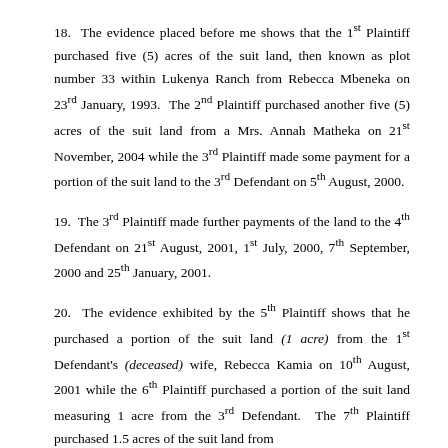18. The evidence placed before me shows that the 1st Plaintiff purchased five (5) acres of the suit land, then known as plot number 33 within Lukenya Ranch from Rebecca Mbeneka on 23rd January, 1993. The 2nd Plaintiff purchased another five (5) acres of the suit land from a Mrs. Annah Matheka on 21st November, 2004 while the 3rd Plaintiff made some payment for a portion of the suit land to the 3rd Defendant on 5th August, 2000.
19. The 3rd Plaintiff made further payments of the land to the 4th Defendant on 21st August, 2001, 1st July, 2000, 7th September, 2000 and 25th January, 2001.
20. The evidence exhibited by the 5th Plaintiff shows that he purchased a portion of the suit land (1 acre) from the 1st Defendant's (deceased) wife, Rebecca Kamia on 10th August, 2001 while the 6th Plaintiff purchased a portion of the suit land measuring 1 acre from the 3rd Defendant. The 7th Plaintiff purchased 1.5 acres of the suit land from